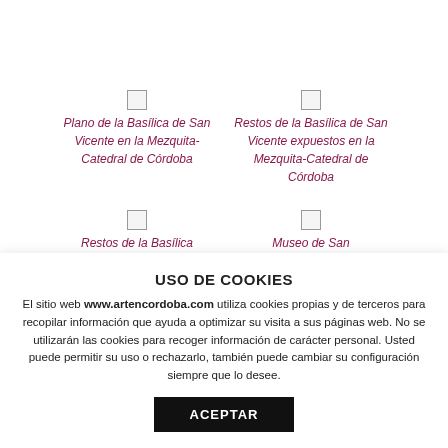[Figure (photo): Placeholder image for Plano de la Basílica de San Vicente en la Mezquita-Catedral de Córdoba]
Plano de la Basílica de San Vicente en la Mezquita-Catedral de Córdoba
[Figure (photo): Placeholder image for Restos de la Basílica de San Vicente expuestos en la Mezquita-Catedral de Córdoba]
Restos de la Basílica de San Vicente expuestos en la Mezquita-Catedral de Córdoba
[Figure (photo): Placeholder image for Restos de la Basílica]
Restos de la Basílica
[Figure (photo): Placeholder image for Museo de San]
Museo de San
USO DE COOKIES
El sitio web www.artencordoba.com utiliza cookies propias y de terceros para recopilar información que ayuda a optimizar su visita a sus páginas web. No se utilizarán las cookies para recoger información de carácter personal. Usted puede permitir su uso o rechazarlo, también puede cambiar su configuración siempre que lo desee.
ACEPTAR